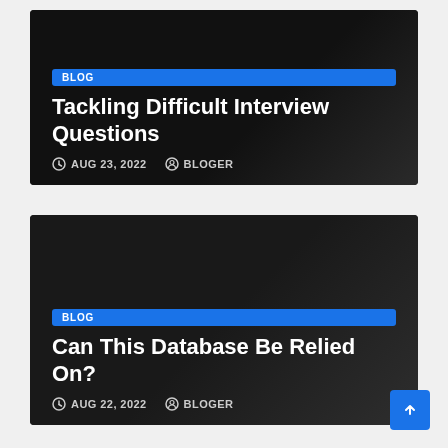[Figure (screenshot): Blog post card with dark background showing title 'Tackling Difficult Interview Questions', dated AUG 23, 2022, by BLOGER, with a BLOG badge]
[Figure (screenshot): Blog post card with dark background showing title 'Can This Database Be Relied On?', dated AUG 22, 2022, by BLOGER, with a BLOG badge]